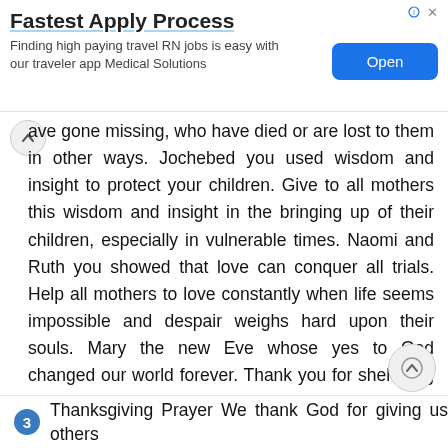[Figure (other): Advertisement banner: 'Fastest Apply Process' — Finding high paying travel RN jobs is easy with our traveler app Medical Solutions. Blue 'Open' button on right.]
ave gone missing, who have died or are lost to them in other ways. Jochebed you used wisdom and insight to protect your children. Give to all mothers this wisdom and insight in the bringing up of their children, especially in vulnerable times. Naomi and Ruth you showed that love can conquer all trials. Help all mothers to love constantly when life seems impossible and despair weighs hard upon their souls. Mary the new Eve whose yes to God changed our world forever. Thank you for sheltering the Holy One all those years ago, for your faithful love and tender care of God s most precious Son. May we never forget that in your giving is our greatest receiving of the gift of life wrapped in a manger and in a tomb. May we know the true cost of relationship by holding our faith in Christ deep within our hearts as you once held him deep within your womb. Amen
3  Thanksgiving Prayer We thank God for giving us others